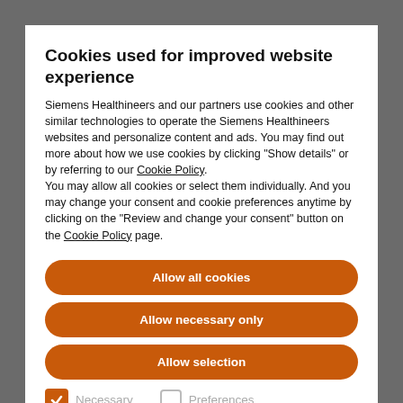Cookies used for improved website experience
Siemens Healthineers and our partners use cookies and other similar technologies to operate the Siemens Healthineers websites and personalize content and ads. You may find out more about how we use cookies by clicking "Show details" or by referring to our Cookie Policy.
You may allow all cookies or select them individually. And you may change your consent and cookie preferences anytime by clicking on the "Review and change your consent" button on the Cookie Policy page.
Allow all cookies
Allow necessary only
Allow selection
Necessary
Preferences